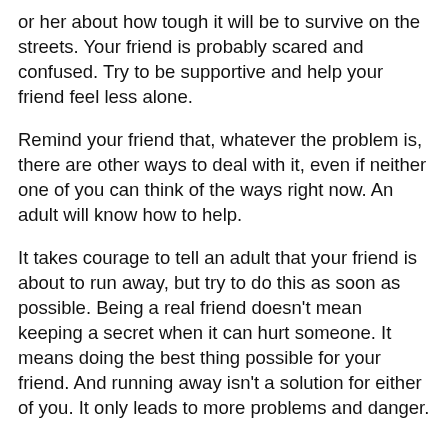or her about how tough it will be to survive on the streets. Your friend is probably scared and confused. Try to be supportive and help your friend feel less alone.
Remind your friend that, whatever the problem is, there are other ways to deal with it, even if neither one of you can think of the ways right now. An adult will know how to help.
It takes courage to tell an adult that your friend is about to run away, but try to do this as soon as possible. Being a real friend doesn't mean keeping a secret when it can hurt someone. It means doing the best thing possible for your friend. And running away isn't a solution for either of you. It only leads to more problems and danger.